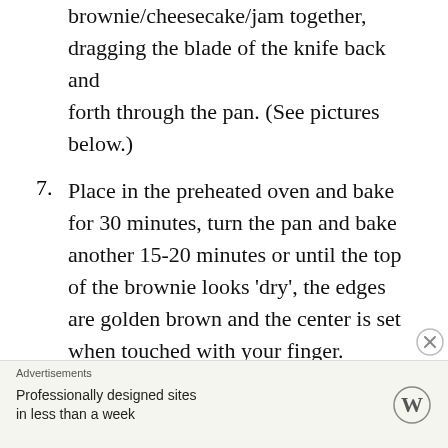brownie/cheesecake/jam together, dragging the blade of the knife back and forth through the pan. (See pictures below.)
7. Place in the preheated oven and bake for 30 minutes, turn the pan and bake another 15-20 minutes or until the top of the brownie looks 'dry', the edges are golden brown and the center is set when touched with your finger.
8. Let cool, then chill before using the
Advertisements
Professionally designed sites in less than a week